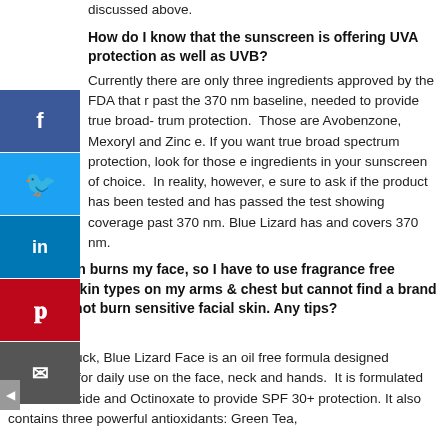discussed above.
How do I know that the sunscreen is offering UVA protection as well as UVB?
Currently there are only three ingredients approved by the FDA that r past the 370 nm baseline, needed to provide true broad-trum protection. Those are Avobenzone, Mexoryl and Zinc e. If you want true broad spectrum protection, look for those e ingredients in your sunscreen of choice. In reality, however, e sure to ask if the product has been tested and has passed the test showing coverage past 370 nm. Blue Lizard has and covers 370 nm.
sunscreen burns my face, so I have to use fragrance free sensitive skin types on my arms & chest but cannot find a brand that does not burn sensitive facial skin. Any tips?
You are in luck, Blue Lizard Face is an oil free formula designed specifically for daily use on the face, neck and hands. It is formulated with Zinc Oxide and Octinoxate to provide SPF 30+ protection. It also contains three powerful antioxidants: Green Tea,